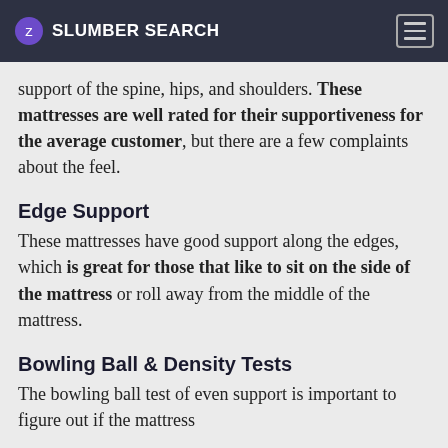SLUMBER SEARCH
support of the spine, hips, and shoulders. These mattresses are well rated for their supportiveness for the average customer, but there are a few complaints about the feel.
Edge Support
These mattresses have good support along the edges, which is great for those that like to sit on the side of the mattress or roll away from the middle of the mattress.
Bowling Ball & Density Tests
The bowling ball test of even support is important to figure out if the mattress